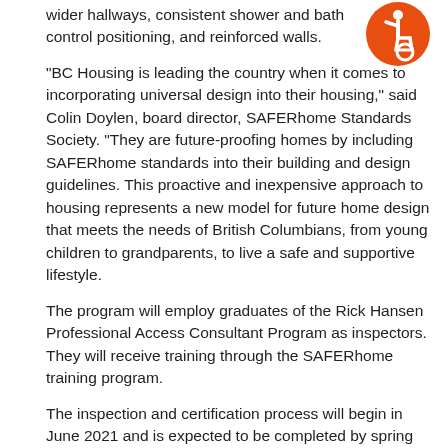wider hallways, consistent shower and bath control positioning, and reinforced walls.
[Figure (logo): Orange circle with white wheelchair accessibility icon (person in wheelchair)]
“BC Housing is leading the country when it comes to incorporating universal design into their housing,” said Colin Doylen, board director, SAFERhome Standards Society. “They are future-proofing homes by including SAFERhome standards into their building and design guidelines. This proactive and inexpensive approach to housing represents a new model for future home design that meets the needs of British Columbians, from young children to grandparents, to live a safe and supportive lifestyle.
The program will employ graduates of the Rick Hansen Professional Access Consultant Program as inspectors. They will receive training through the SAFERhome training program.
The inspection and certification process will begin in June 2021 and is expected to be completed by spring 2022.
Quick Facts:
The Province is providing a grant of $75,000 to the SAFERhome Standards Society to support inspection and